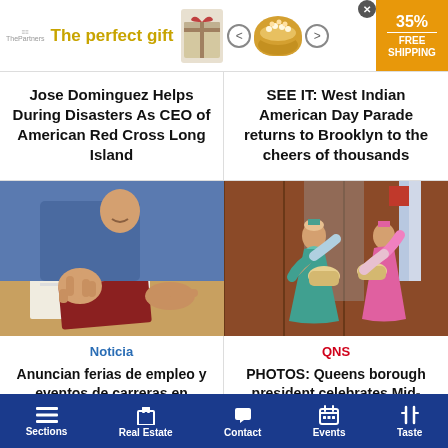[Figure (screenshot): Advertisement banner: 'The perfect gift' with bowl image, navigation arrows, and 35% free shipping offer badge]
Jose Dominguez Helps During Disasters As CEO of American Red Cross Long Island
SEE IT: West Indian American Day Parade returns to Brooklyn to the cheers of thousands
[Figure (photo): Person giving thumbs up at a desk with documents]
[Figure (photo): Korean traditional dancers in colorful hanbok performing on stage]
Noticia
QNS
Anuncian ferias de empleo y eventos de carreras en condado de
PHOTOS: Queens borough president celebrates Mid-Autumn
Sections   Real Estate   Contact   Events   Taste